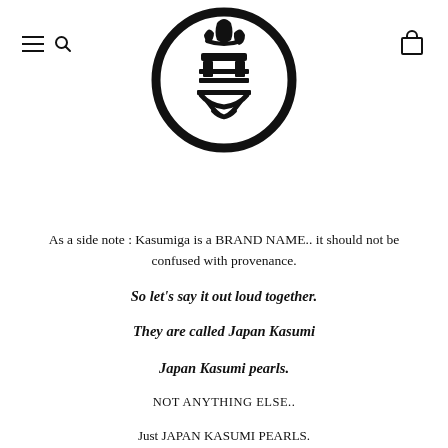[Figure (logo): Circular Japanese seal/stamp logo with kanji characters inside a thick black circle border]
As a side note : Kasumiga is a BRAND NAME.. it should not be confused with provenance.
So let's say it out loud together.
They are called Japan Kasumi
Japan Kasumi pearls.
NOT ANYTHING ELSE..
Just JAPAN KASUMI PEARLS.